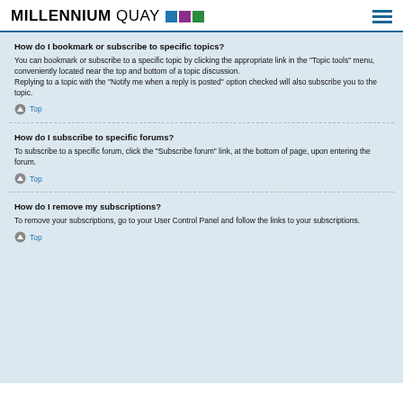MILLENNIUM QUAY
How do I bookmark or subscribe to specific topics?
You can bookmark or subscribe to a specific topic by clicking the appropriate link in the “Topic tools” menu, conveniently located near the top and bottom of a topic discussion.
Replying to a topic with the “Notify me when a reply is posted” option checked will also subscribe you to the topic.
Top
How do I subscribe to specific forums?
To subscribe to a specific forum, click the “Subscribe forum” link, at the bottom of page, upon entering the forum.
Top
How do I remove my subscriptions?
To remove your subscriptions, go to your User Control Panel and follow the links to your subscriptions.
Top